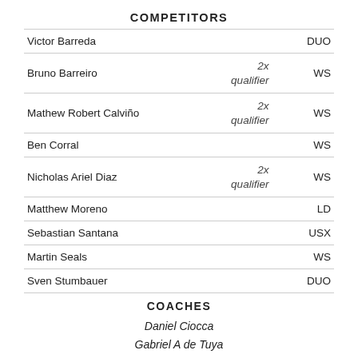COMPETITORS
| Name | Qualifier | Code |
| --- | --- | --- |
| Victor Barreda |  | DUO |
| Bruno Barreiro | 2x qualifier | WS |
| Mathew Robert Calviño | 2x qualifier | WS |
| Ben Corral |  | WS |
| Nicholas Ariel Diaz | 2x qualifier | WS |
| Matthew Moreno |  | LD |
| Sebastian Santana |  | USX |
| Martin Seals |  | WS |
| Sven Stumbauer |  | DUO |
COACHES
Daniel Ciocca
Gabriel A de Tuya